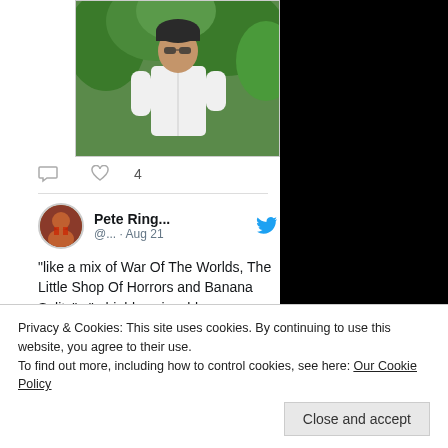[Figure (photo): A person in a white shirt standing outdoors with green trees/foliage in the background]
♡ 4
[Figure (photo): Twitter/X tweet by Pete Ring... (@...) posted Aug 21 with avatar photo]
"like a mix of War Of The Worlds, The Little Shop Of Horrors and Banana Splits"..."a highly enjoyable
Privacy & Cookies: This site uses cookies. By continuing to use this website, you agree to their use.
To find out more, including how to control cookies, see here: Our Cookie Policy
Close and accept